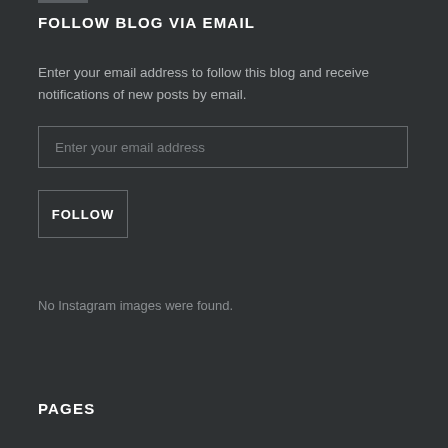FOLLOW BLOG VIA EMAIL
Enter your email address to follow this blog and receive notifications of new posts by email.
Enter your email address
FOLLOW
No Instagram images were found.
PAGES